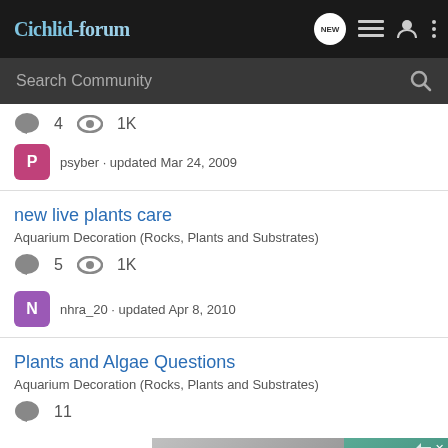Cichlid-forum
Search Community
4  1K
psyber · updated Mar 24, 2009
new live plants care
Aquarium Decoration (Rocks, Plants and Substrates)
5  1K
nhra_20 · updated Apr 8, 2010
Plants and Algae Questions
Aquarium Decoration (Rocks, Plants and Substrates)
11
[Figure (photo): Advertisement banner for Ollie dog food showing a dog. Text reads: Good, clean food made just for your pup]